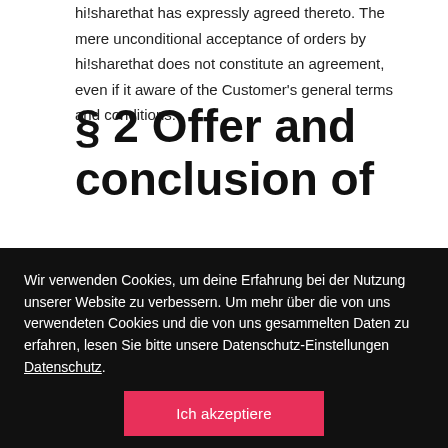hi!sharethat has expressly agreed thereto. The mere unconditional acceptance of orders by hi!sharethat does not constitute an agreement, even if it aware of the Customer's general terms and conditions.
§ 2 Offer and conclusion of
Wir verwenden Cookies, um deine Erfahrung bei der Nutzung unserer Website zu verbessern. Um mehr über die von uns verwendeten Cookies und die von uns gesammelten Daten zu erfahren, lesen Sie bitte unsere Datenschutz-Einstellungen Datenschutz.
Ich akzeptiere